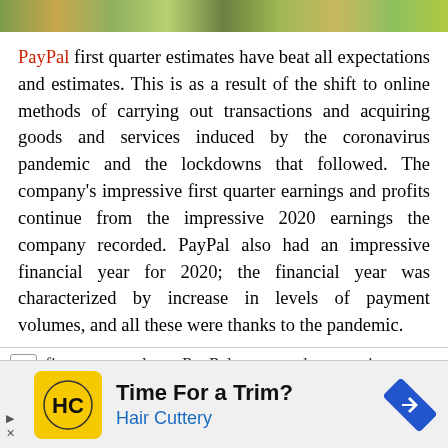[Figure (photo): Decorative nature/landscape image strip at top of page]
PayPal first quarter estimates have beat all expectations and estimates. This is as a result of the shift to online methods of carrying out transactions and acquiring goods and services induced by the coronavirus pandemic and the lockdowns that followed. The company's impressive first quarter earnings and profits continue from the impressive 2020 earnings the company recorded. PayPal also had an impressive financial year for 2020; the financial year was characterized by increase in levels of payment volumes, and all these were thanks to the pandemic.
first quarter alone. PayPal processed transactions
[Figure (other): Advertisement banner: Time For a Trim? Hair Cuttery with logo and navigation icon]